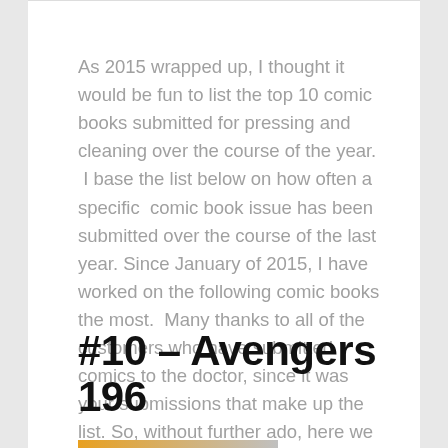As 2015 wrapped up, I thought it would be fun to list the top 10 comic books submitted for pressing and cleaning over the course of the year.  I base the list below on how often a specific  comic book issue has been submitted over the course of the last year. Since January of 2015, I have worked on the following comic books the most.  Many thanks to all of the customers who have submitted comics to the doctor, since it was your submissions that make up the list. So, without further ado, here we go
#10 – Avengers 196